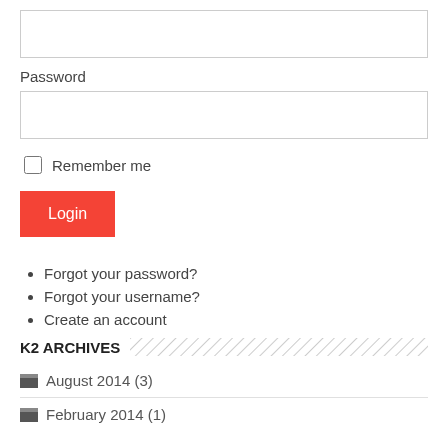[Figure (screenshot): Username input field (empty text box)]
Password
[Figure (screenshot): Password input field (empty text box)]
Remember me
Login
Forgot your password?
Forgot your username?
Create an account
K2 ARCHIVES
August 2014 (3)
February 2014 (1)